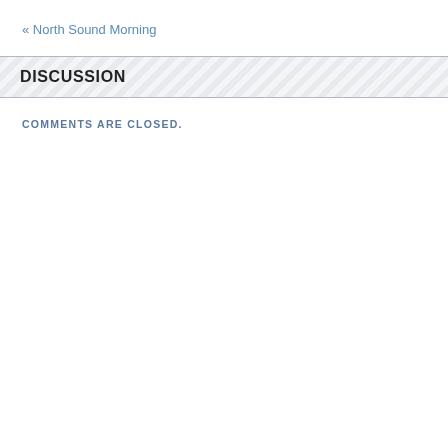« North Sound Morning
DISCUSSION
COMMENTS ARE CLOSED.